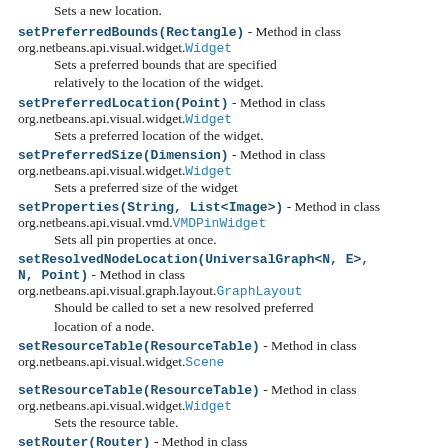Sets a new location.
setPreferredBounds(Rectangle) - Method in class org.netbeans.api.visual.widget.Widget
    Sets a preferred bounds that are specified relatively to the location of the widget.
setPreferredLocation(Point) - Method in class org.netbeans.api.visual.widget.Widget
    Sets a preferred location of the widget.
setPreferredSize(Dimension) - Method in class org.netbeans.api.visual.widget.Widget
    Sets a preferred size of the widget
setProperties(String, List<Image>) - Method in class org.netbeans.api.visual.vmd.VMDPinWidget
    Sets all pin properties at once.
setResolvedNodeLocation(UniversalGraph<N, E>, N, Point) - Method in class org.netbeans.api.visual.graph.layout.GraphLayout
    Should be called to set a new resolved preferred location of a node.
setResourceTable(ResourceTable) - Method in class org.netbeans.api.visual.widget.Scene
setResourceTable(ResourceTable) - Method in class org.netbeans.api.visual.widget.Widget
    Sets the resource table.
setRouter(Router) - Method in class